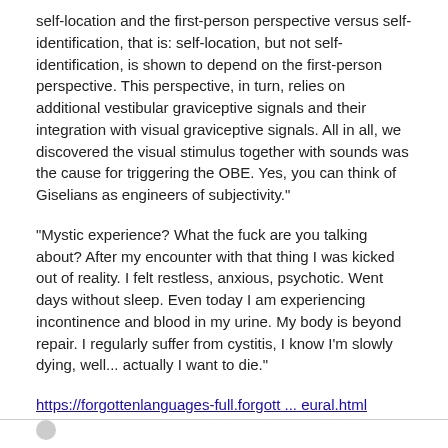self-location and the first-person perspective versus self-identification, that is: self-location, but not self-identification, is shown to depend on the first-person perspective. This perspective, in turn, relies on additional vestibular graviceptive signals and their integration with visual graviceptive signals. All in all, we discovered the visual stimulus together with sounds was the cause for triggering the OBE. Yes, you can think of Giselians as engineers of subjectivity."
"Mystic experience? What the fuck are you talking about? After my encounter with that thing I was kicked out of reality. I felt restless, anxious, psychotic. Went days without sleep. Even today I am experiencing incontinence and blood in my urine. My body is beyond repair. I regularly suffer from cystitis, I know I'm slowly dying, well... actually I want to die."
https://forgottenlanguages-full.forgott ... eural.html